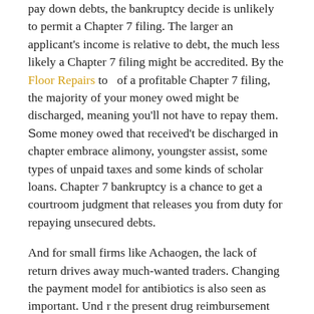pay down debts, the bankruptcy decide is unlikely to permit a Chapter 7 filing. The larger an applicant's income is relative to debt, the much less likely a Chapter 7 filing might be accredited. By the Floor Repairs to of a profitable Chapter 7 filing, the majority of your money owed might be discharged, meaning you'll not have to repay them. Some money owed that received't be discharged in chapter embrace alimony, youngster assist, some types of unpaid taxes and some kinds of scholar loans. Chapter 7 bankruptcy is a chance to get a courtroom judgment that releases you from duty for repaying unsecured debts.
And for small firms like Achaogen, the lack of return drives away much-wanted traders. Changing the payment model for antibiotics is also seen as important. Und r the present drug reimbursement mannequin, pharmaceutical company profits are primarily based on volume of medicine offered. That's an acceptable mannequin for drugs for persistent circumstances, however—as Coukell